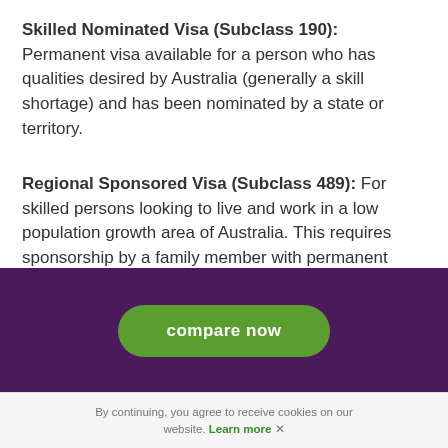Skilled Nominated Visa (Subclass 190): Permanent visa available for a person who has qualities desired by Australia (generally a skill shortage) and has been nominated by a state or territory.
Regional Sponsored Visa (Subclass 489): For skilled persons looking to live and work in a low population growth area of Australia. This requires sponsorship by a family member with permanent residential status, is valid for 4 years, half of which you must spend in a nominated territory.
Australian Citizenship
[Figure (other): Dark purple banner with green 'compare now' button]
By continuing, you agree to receive cookies on our website. Learn more ✕